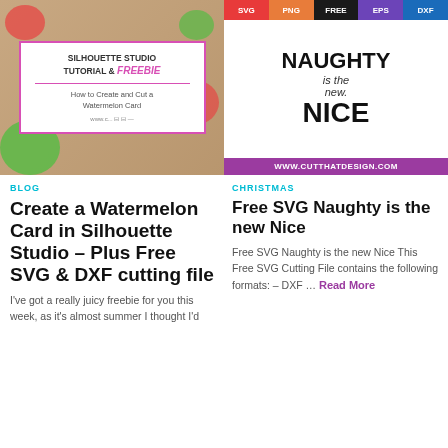[Figure (illustration): Watermelon card tutorial thumbnail with pink bordered card overlay showing 'Silhouette Studio Tutorial & Freebie - How to Create and Cut a Watermelon Card' on a watermelon-themed background]
[Figure (illustration): Free SVG design graphic for 'Naughty is the new Nice' with format bar (SVG, PNG, FREE, EPS, DXF) at top and purple website bar at bottom showing www.cutthatdesign.com]
BLOG
CHRISTMAS
Create a Watermelon Card in Silhouette Studio – Plus Free SVG & DXF cutting file
Free SVG Naughty is the new Nice
I've got a really juicy freebie for you this week, as it's almost summer I thought I'd
Free SVG Naughty is the new Nice This Free SVG Cutting File contains the following formats: – DXF … Read More